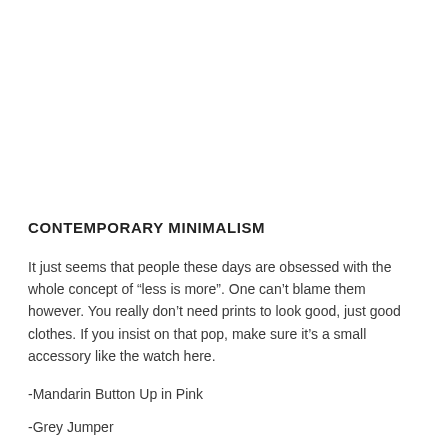CONTEMPORARY MINIMALISM
It just seems that people these days are obsessed with the whole concept of “less is more”. One can’t blame them however. You really don’t need prints to look good, just good clothes. If you insist on that pop, make sure it’s a small accessory like the watch here.
-Mandarin Button Up in Pink
-Grey Jumper